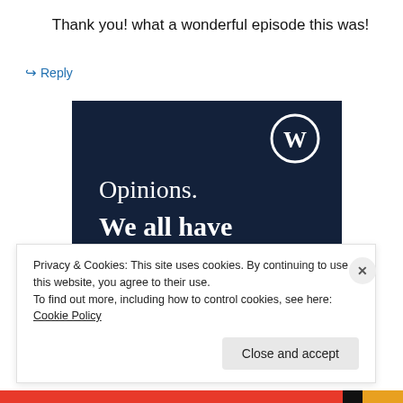Thank you! what a wonderful episode this was!
↳ Reply
[Figure (illustration): Dark navy background image with WordPress logo (W in circle) in top right corner. White serif text reads 'Opinions.' and bold white text reads 'We all have them!' A pink/magenta button partially visible at bottom left, and a white circle at bottom right.]
Privacy & Cookies: This site uses cookies. By continuing to use this website, you agree to their use.
To find out more, including how to control cookies, see here: Cookie Policy
Close and accept